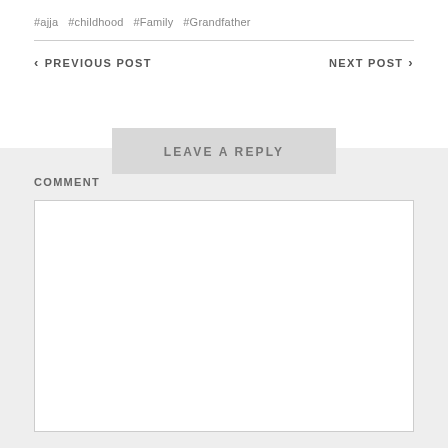#ajja #childhood #Family #Grandfather
< PREVIOUS POST    NEXT POST >
LEAVE A REPLY
COMMENT